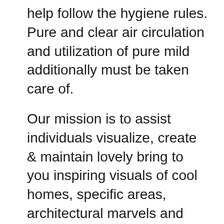help follow the hygiene rules. Pure and clear air circulation and utilization of pure mild additionally must be taken care of.
Our mission is to assist individuals visualize, create & maintain lovely bring to you inspiring visuals of cool homes, specific areas, architectural marvels and new design developments.Observe us for a each day dose of outstanding houses, clever structure & stunning design.
This is where the inside designers come to play. The interior designers have the vision to provide the restricted area in our houses, a â€˜wow' factor and have